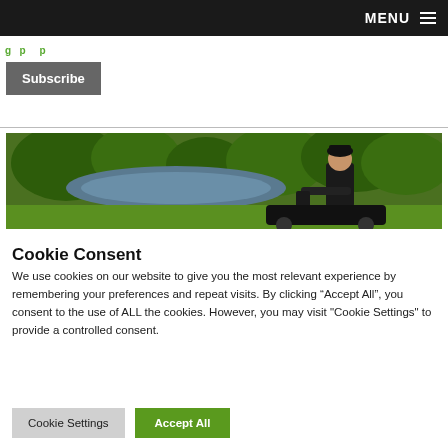MENU
Subscribe
[Figure (photo): Man in black cap and jacket operating a ride-on mower on a green lawn near a pond and trees]
Cookie Consent
We use cookies on our website to give you the most relevant experience by remembering your preferences and repeat visits. By clicking “Accept All”, you consent to the use of ALL the cookies. However, you may visit "Cookie Settings" to provide a controlled consent.
Cookie Settings | Accept All